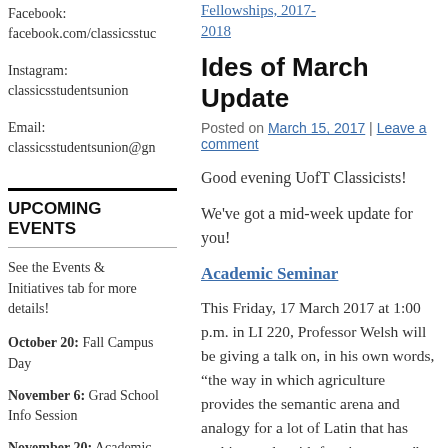Facebook: facebook.com/classicsstuc
Instagram: classicsstudentsunion
Email: classicsstudentsunion@gn
UPCOMING EVENTS
See the Events & Initiatives tab for more details!
October 20: Fall Campus Day
November 6: Grad School Info Session
November 20: Academic
Fellowships, 2017-2018
Ides of March Update
Posted on March 15, 2017 | Leave a comment
Good evening UofT Classicists!
We've got a mid-week update for you!
Academic Seminar
This Friday, 17 March 2017 at 1:00 p.m. in LI 220, Professor Welsh will be giving a talk on, in his own words, “the way in which agriculture provides the semantic arena and analogy for a lot of Latin that has nothing to do with farming per se.” It’ll be interesting and fun, so don’t miss out! As always, free refreshments provided.